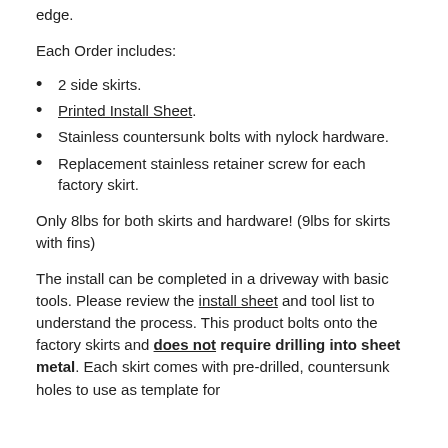edge.
Each Order includes:
2 side skirts.
Printed Install Sheet.
Stainless countersunk bolts with nylock hardware.
Replacement stainless retainer screw for each factory skirt.
Only 8lbs for both skirts and hardware! (9lbs for skirts with fins)
The install can be completed in a driveway with basic tools. Please review the install sheet and tool list to understand the process. This product bolts onto the factory skirts and does not require drilling into sheet metal. Each skirt comes with pre-drilled, countersunk holes to use as template for